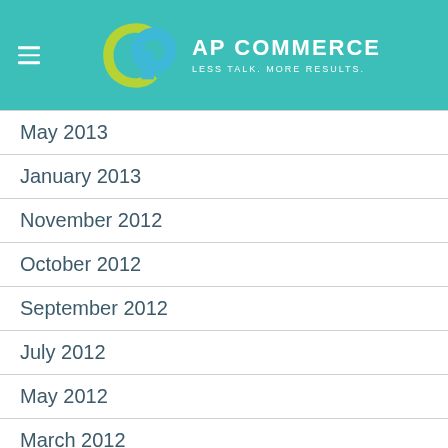AP COMMERCE — LESS TALK. MORE RESULTS.
May 2013
January 2013
November 2012
October 2012
September 2012
July 2012
May 2012
March 2012
February 2012
December 2011